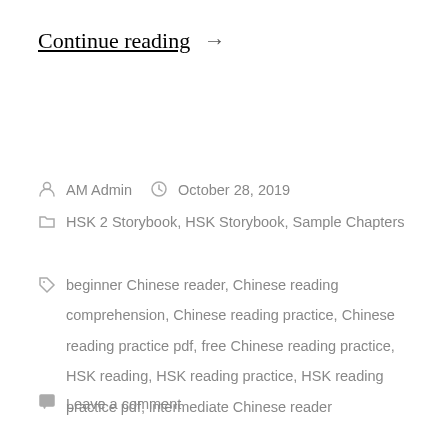Continue reading →
AM Admin   October 28, 2019
HSK 2 Storybook, HSK Storybook, Sample Chapters
beginner Chinese reader, Chinese reading comprehension, Chinese reading practice, Chinese reading practice pdf, free Chinese reading practice, HSK reading, HSK reading practice, HSK reading practice pdf, intermediate Chinese reader
Leave a comment